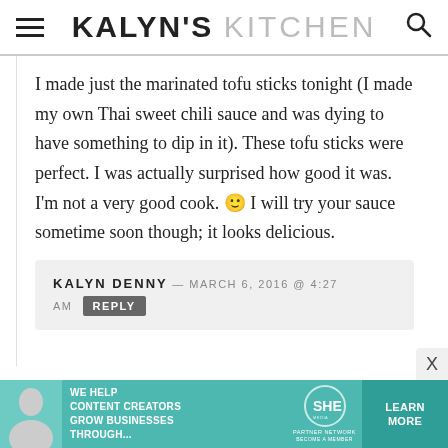KALYN'S KITCHEN
I made just the marinated tofu sticks tonight (I made my own Thai sweet chili sauce and was dying to have something to dip in it). These tofu sticks were perfect. I was actually surprised how good it was. I'm not a very good cook. 🙂 I will try your sauce sometime soon though; it looks delicious.
KALYN DENNY — MARCH 6, 2016 @ 4:27 AM  REPLY
[Figure (infographic): SHE Media partner network advertisement banner with teal background, person photo, text 'We help content creators grow businesses through...' and 'LEARN MORE' button]